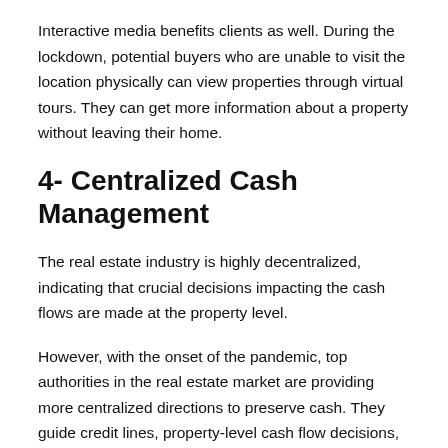Interactive media benefits clients as well. During the lockdown, potential buyers who are unable to visit the location physically can view properties through virtual tours. They can get more information about a property without leaving their home.
4- Centralized Cash Management
The real estate industry is highly decentralized, indicating that crucial decisions impacting the cash flows are made at the property level.
However, with the onset of the pandemic, top authorities in the real estate market are providing more centralized directions to preserve cash. They guide credit lines, property-level cash flow decisions, and company-level balance sheet